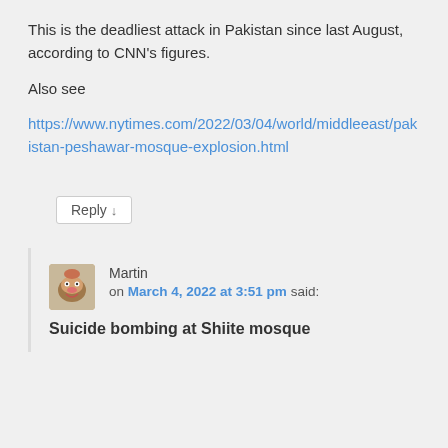This is the deadliest attack in Pakistan since last August, according to CNN's figures.
Also see https://www.nytimes.com/2022/03/04/world/middleeast/pakistan-peshawar-mosque-explosion.html
Reply ↓
Martin on March 4, 2022 at 3:51 pm said:
Suicide bombing at Shiite mosque